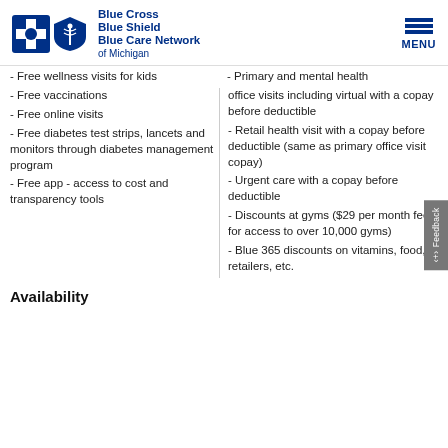Blue Cross Blue Shield Blue Care Network of Michigan
- Free wellness visits for kids
- Free vaccinations
- Free online visits
- Free diabetes test strips, lancets and monitors through diabetes management program
- Free app - access to cost and transparency tools
- Primary and mental health office visits including virtual with a copay before deductible
- Retail health visit with a copay before deductible (same as primary office visit copay)
- Urgent care with a copay before deductible
- Discounts at gyms ($29 per month fee for access to over 10,000 gyms)
- Blue 365 discounts on vitamins, food, retailers, etc.
Availability